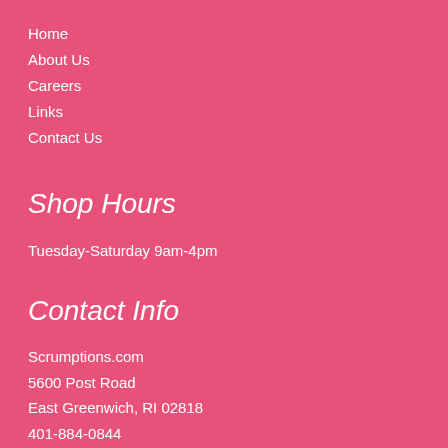Home
About Us
Careers
Links
Contact Us
Shop Hours
Tuesday-Saturday 9am-4pm
Contact Info
Scrumptions.com
5600 Post Road
East Greenwich, RI 02818
401-884-0844
scrumptions@scrumptions.com